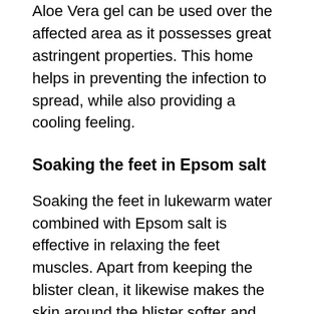Aloe Vera gel can be used over the affected area as it possesses great astringent properties. This home helps in preventing the infection to spread, while also providing a cooling feeling.
Soaking the feet in Epsom salt
Soaking the feet in lukewarm water combined with Epsom salt is effective in relaxing the feet muscles. Apart from keeping the blister clean, it likewise makes the skin around the blister softer and accelerates the healing process. Soaking the feet is specifically relaxing after walking in unpleasant shoes.
Apple cider vinegar
Apple cider vinegar has anti-bacterial properties, which